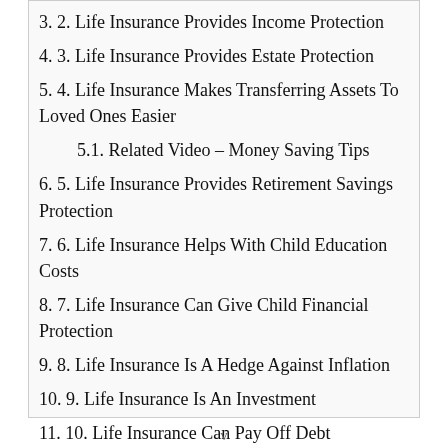3. 2. Life Insurance Provides Income Protection
4. 3. Life Insurance Provides Estate Protection
5. 4. Life Insurance Makes Transferring Assets To Loved Ones Easier
5.1. Related Video – Money Saving Tips
6. 5. Life Insurance Provides Retirement Savings Protection
7. 6. Life Insurance Helps With Child Education Costs
8. 7. Life Insurance Can Give Child Financial Protection
9. 8. Life Insurance Is A Hedge Against Inflation
10. 9. Life Insurance Is An Investment
11. 10. Life Insurance Can Pay Off Debt
12. 11. Life Insurance Can Provide College Education Protection
13. 12. Life Insurance Can Cover Out of Pocket Costs
14. 13. Life Insurance Can Support Your Business
v